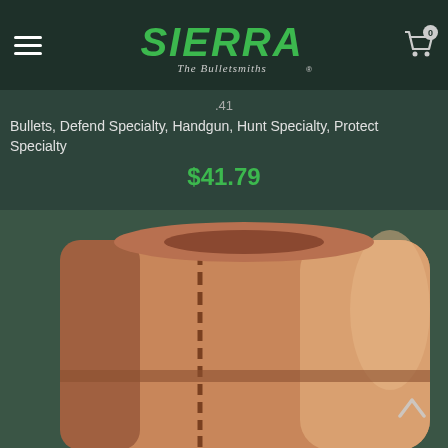[Figure (logo): Sierra Bullets logo - green stylized SIERRA text with 'The Bulletsmiths' tagline in script]
.41
Bullets, Defend Specialty, Handgun, Hunt Specialty, Protect Specialty
$41.79
[Figure (photo): Close-up photo of a copper-colored bullet, showing grooves/cannelures on the side and a flat or hollow point tip, set against a dark green background]